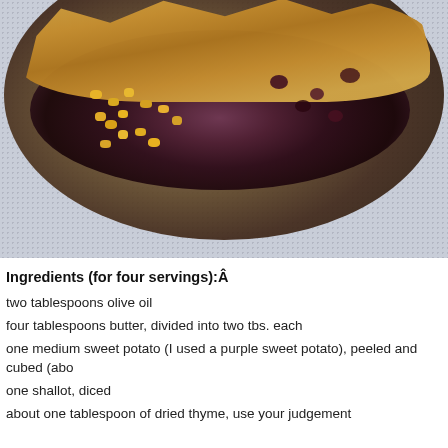[Figure (photo): Close-up photo of a food dish on a dark plate — a crispy biscuit topping with corn kernels and purple/dark filling visible, on a speckled grey surface.]
Ingredients (for four servings):Â
two tablespoons olive oil
four tablespoons butter, divided into two tbs. each
one medium sweet potato (I used a purple sweet potato), peeled and cubed (abo
one shallot, diced
about one tablespoon of dried thyme, use your judgement